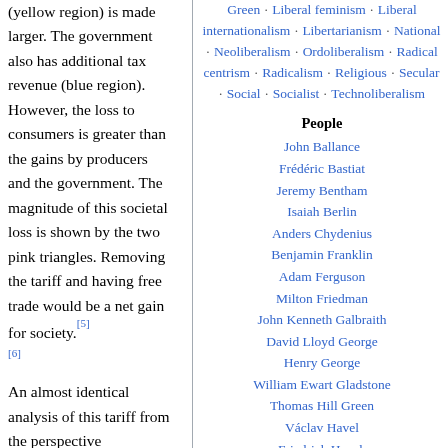(yellow region) is made larger. The government also has additional tax revenue (blue region). However, the loss to consumers is greater than the gains by producers and the government. The magnitude of this societal loss is shown by the two pink triangles. Removing the tariff and having free trade would be a net gain for society.[5][6]
An almost identical analysis of this tariff from the perspective
Green · Liberal feminism · Liberal internationalism · Libertarianism · National · Neoliberalism · Ordoliberalism · Radical centrism · Radicalism · Religious · Secular · Social · Socialist · Technoliberalism
People
John Ballance
Frédéric Bastiat
Jeremy Bentham
Isaiah Berlin
Anders Chydenius
Benjamin Franklin
Adam Ferguson
Milton Friedman
John Kenneth Galbraith
David Lloyd George
Henry George
William Ewart Gladstone
Thomas Hill Green
Václav Havel
Friedrich Hayek
Leonard Hobhouse
Wilhelm von Humboldt
David Hume
Thomas Jefferson
John F. Kennedy